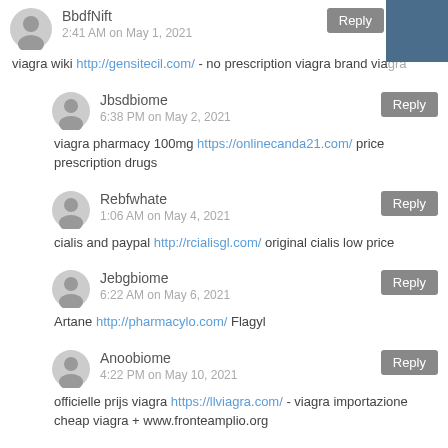BbdfNift
2:41 AM on May 1, 2021
viagra wiki http://gensitecil.com/ - no prescription viagra brand viagra
Jbsdbiome
6:38 PM on May 2, 2021
viagra pharmacy 100mg https://onlinecanda21.com/ price prescription drugs
Rebfwhate
1:06 AM on May 4, 2021
cialis and paypal http://rcialisgl.com/ original cialis low price
Jebgbiome
6:22 AM on May 6, 2021
Artane http://pharmacylo.com/ Flagyl
Anoobiome
4:22 PM on May 10, 2021
officielle prijs viagra https://llviagra.com/ - viagra importazione cheap viagra + www.fronteamplio.org